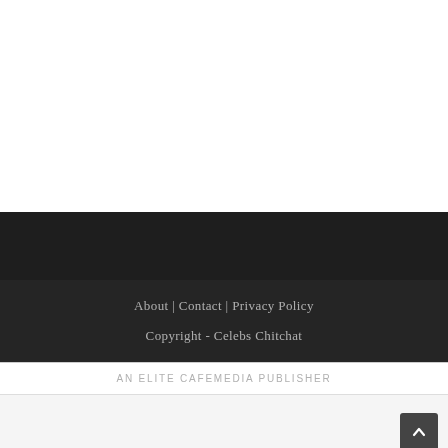About | Contact | Privacy Policy
Copyright - Celebs Chitchat
AN ELITE CAFEMEDIA PUBLISHER